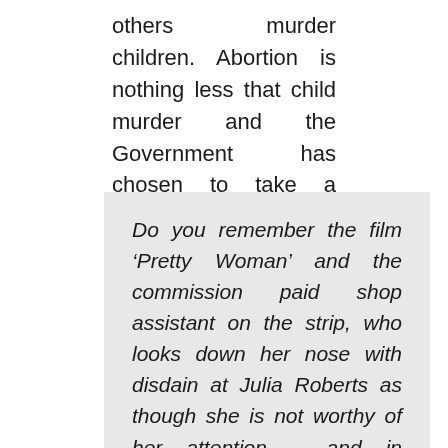others murder children. Abortion is nothing less that child murder and the Government has chosen to take a particular stance on the issue that allows thousands of children to be murdered every year then we must speak out against it.
Do you remember the film ‘Pretty Woman’ and the commission paid shop assistant on the strip, who looks down her nose with disdain at Julia Roberts as though she is not worthy of her attention – and in particular the scene where Julia Roberts walks back into the shop, arms loaded with designer bags and says to the gobsmacked shop assistant ‘Big mistake,